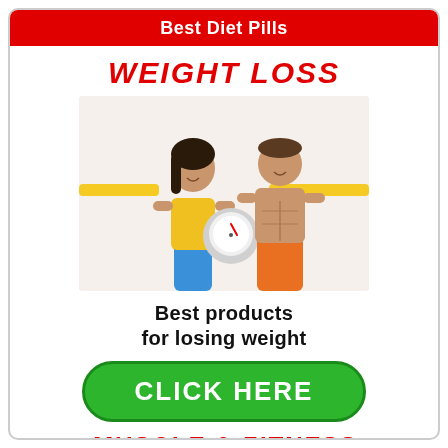Best Diet Pills
WEIGHT LOSS
[Figure (photo): A fit woman in yellow top and blue shorts holding a measuring tape around a scale, and a shirtless muscular man in orange shorts, both smiling in front of a white background]
Best products for losing weight
CLICK HERE
MUSCLE & FITNESS
[Figure (photo): Two fitness people on a blue background, partially visible at bottom of page]